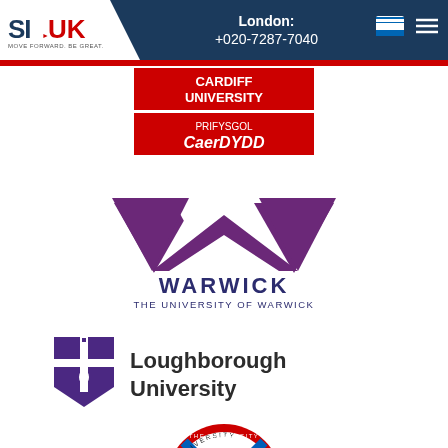SI-UK | London: +020-7287-7040
[Figure (logo): Cardiff University / Prifysgol Caerdydd logo - red background with white text]
[Figure (logo): University of Warwick logo - purple W chevron shape with WARWICK and THE UNIVERSITY OF WARWICK text]
[Figure (logo): Loughborough University logo - purple shield crest with Loughborough University text]
[Figure (logo): The University of Edinburgh circular seal logo]
[Figure (logo): University of Exeter logo - partially visible red crest with University of text]